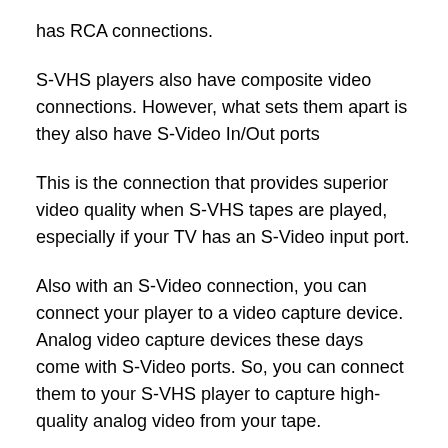has RCA connections.
S-VHS players also have composite video connections. However, what sets them apart is they also have S-Video In/Out ports
This is the connection that provides superior video quality when S-VHS tapes are played, especially if your TV has an S-Video input port.
Also with an S-Video connection, you can connect your player to a video capture device. Analog video capture devices these days come with S-Video ports. So, you can connect them to your S-VHS player to capture high-quality analog video from your tape.